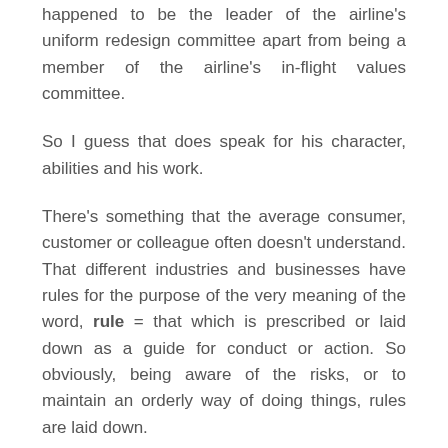happened to be the leader of the airline's uniform redesign committee apart from being a member of the airline's in-flight values committee.
So I guess that does speak for his character, abilities and his work.
There's something that the average consumer, customer or colleague often doesn't understand. That different industries and businesses have rules for the purpose of the very meaning of the word, rule = that which is prescribed or laid down as a guide for conduct or action. So obviously, being aware of the risks, or to maintain an orderly way of doing things, rules are laid down.
But most beings, thinking themselves the wiser